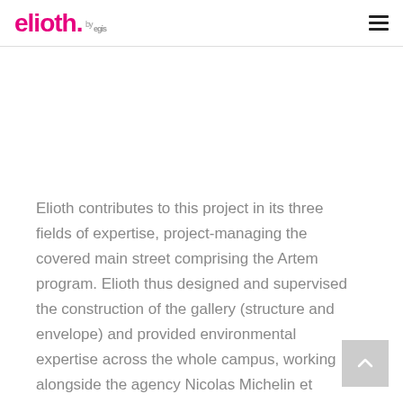elioth. by egis
Elioth contributes to this project in its three fields of expertise, project-managing the covered main street comprising the Artem program. Elioth thus designed and supervised the construction of the gallery (structure and envelope) and provided environmental expertise across the whole campus, working alongside the agency Nicolas Michelin et Associés.